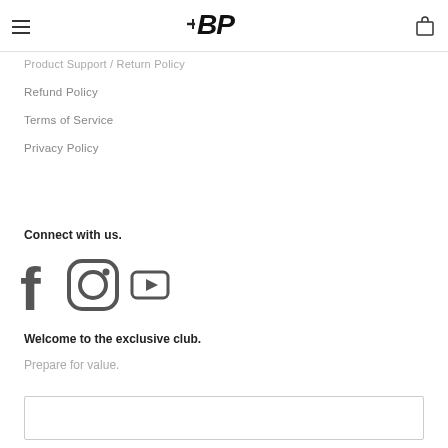BP (logo with hamburger menu and cart icon)
Product Support / Return Policy
Refund Policy
Terms of Service
Privacy Policy
Connect with us.
[Figure (illustration): Social media icons: Facebook, Instagram, YouTube]
Welcome to the exclusive club.
Prepare for value.